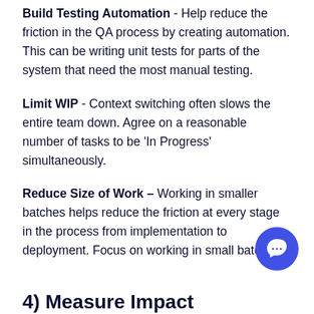Build Testing Automation - Help reduce the friction in the QA process by creating automation. This can be writing unit tests for parts of the system that need the most manual testing.
Limit WIP - Context switching often slows the entire team down. Agree on a reasonable number of tasks to be 'In Progress' simultaneously.
Reduce Size of Work – Working in smaller batches helps reduce the friction at every stage in the process from implementation to deployment. Focus on working in small batches.
4) Measure Impact